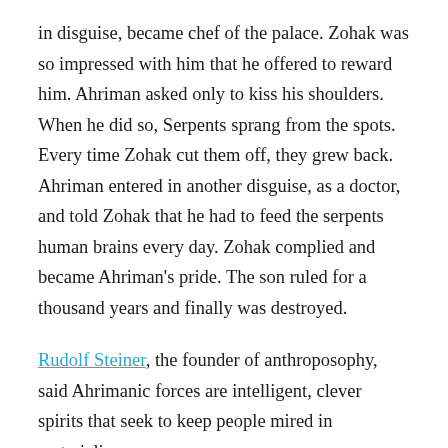in disguise, became chef of the palace. Zohak was so impressed with him that he offered to reward him. Ahriman asked only to kiss his shoulders. When he did so, Serpents sprang from the spots. Every time Zohak cut them off, they grew back. Ahriman entered in another disguise, as a doctor, and told Zohak that he had to feed the serpents human brains every day. Zohak complied and became Ahriman's pride. The son ruled for a thousand years and finally was destroyed.
Rudolf Steiner, the founder of anthroposophy, said Ahrimanic forces are intelligent, clever spirits that seek to keep people mired in materialism.
Further Reading: